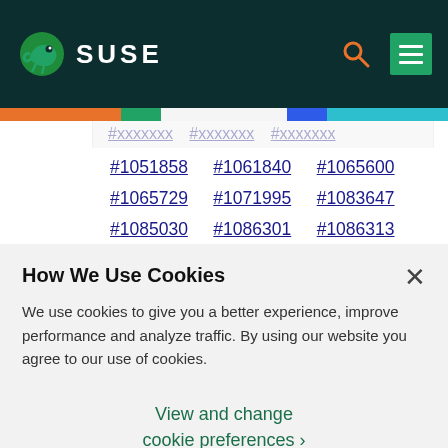SUSE
| #1051858 | #1061840 | #1065600 |
| #1065729 | #1071995 | #1083647 |
| #1085030 | #1086301 | #1086313 |
| #1086314 | #1088810 | #1104745 |
| #1105392 | #1109837 | #1111666 |
| #1112178 | #1112374 | #1112504 |
How We Use Cookies
We use cookies to give you a better experience, improve performance and analyze traffic. By using our website you agree to our use of cookies.
View and change cookie preferences >